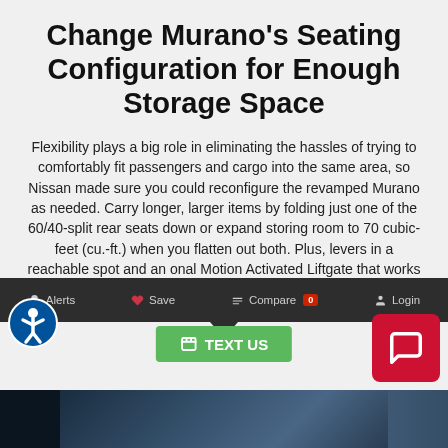Change Murano’s Seating Configuration for Enough Storage Space
Flexibility plays a big role in eliminating the hassles of trying to comfortably fit passengers and cargo into the same area, so Nissan made sure you could reconfigure the revamped Murano as needed. Carry longer, larger items by folding just one of the 60/40-split rear seats down or expand storing room to 70 cubic-feet (cu.-ft.) when you flatten out both. Plus, levers in a reachable spot and an onal Motion Activated Liftgate that works by the rear umper sensing your foot underneath makes loading considerably simpler.
[Figure (screenshot): Website screenshot showing bottom navigation bar with Alerts, Save, Compare (with red 0 badge), and Login options on dark background, plus a green TEXT US button and red chat button, and a photo strip of a car interior at the bottom.]